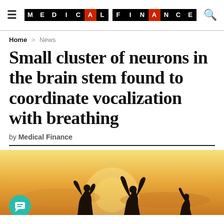MEDICAL FINANCE
Home > News
Small cluster of neurons in the brain stem found to coordinate vocalization with breathing
by Medical Finance
[Figure (photo): Silhouette of people with raised arms against a warm golden sunset sky background]